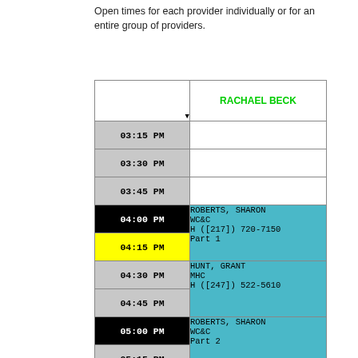Open times for each provider individually or for an entire group of providers.
[Figure (screenshot): A scheduling calendar interface showing time slots from 03:15 PM to 05:45 PM for provider RACHAEL BECK. Appointments shown: ROBERTS, SHARON WC&C H ([217]) 720-7150 Part 1 at 04:00 PM (spanning 04:00-04:15), HUNT, GRANT MHC H ([247]) 522-5610 at 04:30 PM (spanning 04:30-04:45), ROBERTS, SHARON WC&C Part 2 at 05:00 PM (spanning 05:00-05:45). Time cells for 04:00 PM and 05:00 PM have black backgrounds. 04:15 PM has yellow background.]